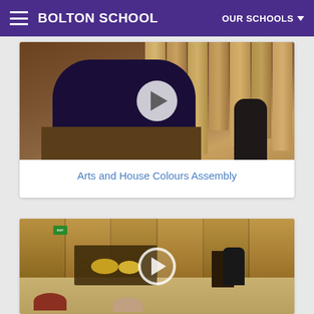BOLTON SCHOOL — OUR SCHOOLS
[Figure (photo): Video thumbnail showing a person in dark clothing playing or standing near a church organ with wooden pipes, with a play button overlay. Another figure in a suit visible on the right.]
Arts and House Colours Assembly
[Figure (photo): Video thumbnail showing a school assembly hall with wooden panelling, a drum kit on stage, musicians and a speaker at a podium on the right, with audience members in the foreground. Play button overlay present.]